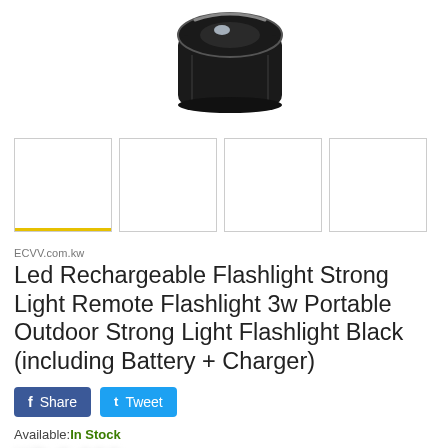[Figure (photo): Partial product photo of a black LED flashlight, showing the head/lens area on a white background, cropped at top]
[Figure (screenshot): Four thumbnail image boxes below the main image, first one has a yellow underline (active), rest are empty white boxes]
ECVV.com.kw
Led Rechargeable Flashlight Strong Light Remote Flashlight 3w Portable Outdoor Strong Light Flashlight Black (including Battery + Charger)
[Figure (infographic): Facebook Share button and Twitter Tweet button]
Available:In Stock
price blurred